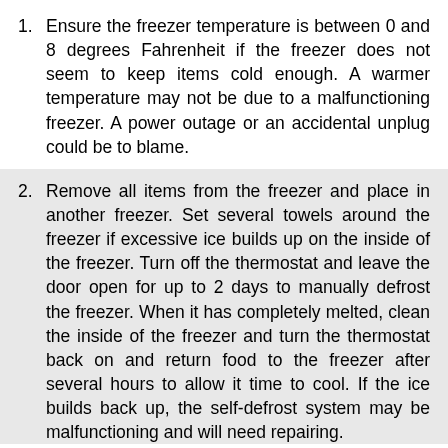1. Ensure the freezer temperature is between 0 and 8 degrees Fahrenheit if the freezer does not seem to keep items cold enough. A warmer temperature may not be due to a malfunctioning freezer. A power outage or an accidental unplug could be to blame.
2. Remove all items from the freezer and place in another freezer. Set several towels around the freezer if excessive ice builds up on the inside of the freezer. Turn off the thermostat and leave the door open for up to 2 days to manually defrost the freezer. When it has completely melted, clean the inside of the freezer and turn the thermostat back on and return food to the freezer after several hours to allow it time to cool. If the ice builds back up, the self-defrost system may be malfunctioning and will need repairing.
3. If the freezer seems very noisy while running,